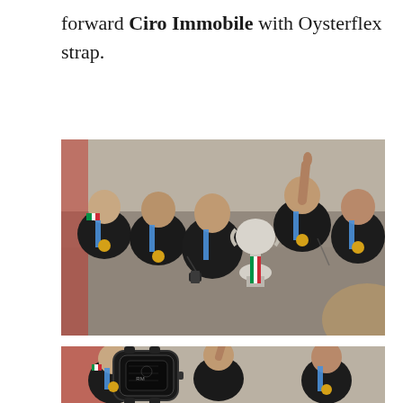forward Ciro Immobile with Oysterflex strap.
[Figure (photo): Italy national football team players celebrating with the UEFA Euro 2020 trophy on a parade bus, all wearing black shirts and tournament medals with blue ribbons.]
[Figure (photo): Close-up of a dark Richard Mille watch overlaid on the same celebration photo of Italian football players on a victory parade bus.]